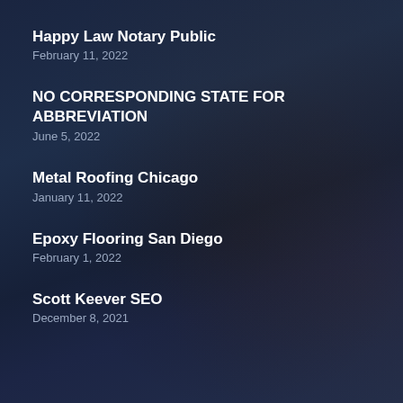Happy Law Notary Public
February 11, 2022
NO CORRESPONDING STATE FOR ABBREVIATION
June 5, 2022
Metal Roofing Chicago
January 11, 2022
Epoxy Flooring San Diego
February 1, 2022
Scott Keever SEO
December 8, 2021